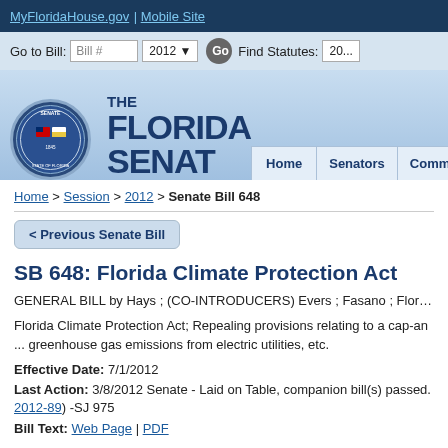MyFloridaHouse.gov | Mobile Site
Go to Bill: Bill # 2012 Go   Find Statutes: 20...
[Figure (logo): The Florida Senate logo with state seal and navigation tabs: Home, Senators, Committees]
Home > Session > 2012 > Senate Bill 648
< Previous Senate Bill
SB 648: Florida Climate Protection Act
GENERAL BILL by Hays ; (CO-INTRODUCERS) Evers ; Fasano ; Flores...
Florida Climate Protection Act; Repealing provisions relating to a cap-and... greenhouse gas emissions from electric utilities, etc.
Effective Date: 7/1/2012
Last Action: 3/8/2012 Senate - Laid on Table, companion bill(s) passed. (2012-89) -SJ 975
Bill Text: Web Page | PDF